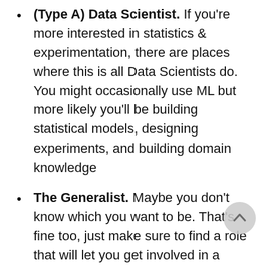(Type A) Data Scientist. If you're more interested in statistics & experimentation, there are places where this is all Data Scientists do. You might occasionally use ML but more likely you'll be building statistical models, designing experiments, and building domain knowledge
The Generalist. Maybe you don't know which you want to be. That's fine too, just make sure to find a role that will let you get involved in a range of things. This will probably be easier in a small team where there's less pressure to specialise.
Another key question you should ask yourself is, do I have to work on Data Science? Data Science and Machine Learning are one piece of how organisations use Data to inform their decisions. For